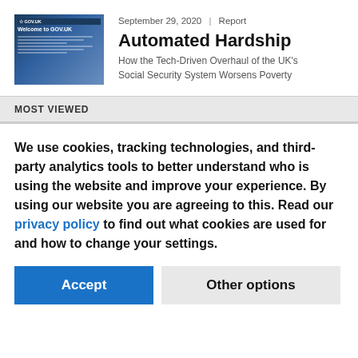[Figure (screenshot): Thumbnail image of GOV.UK website homepage with 'Welcome to GOV.UK' text on a blue background]
September 29, 2020  |  Report
Automated Hardship
How the Tech-Driven Overhaul of the UK's Social Security System Worsens Poverty
MOST VIEWED
We use cookies, tracking technologies, and third-party analytics tools to better understand who is using the website and improve your experience. By using our website you are agreeing to this. Read our privacy policy to find out what cookies are used for and how to change your settings.
Accept
Other options